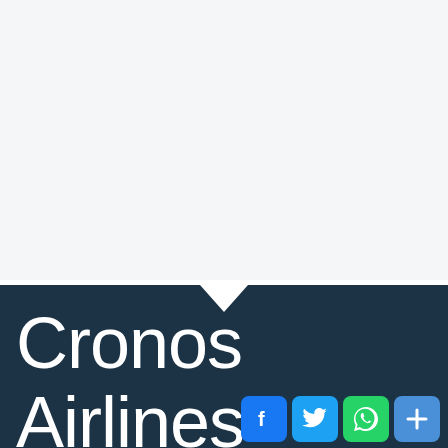[Figure (logo): White background top section with dark teal bottom section separated by a downward chevron/arrow shape]
Cronos Airlines
[Figure (infographic): Social media share icons: Facebook (blue), Twitter (blue), WhatsApp (green), Share/Plus (blue)]